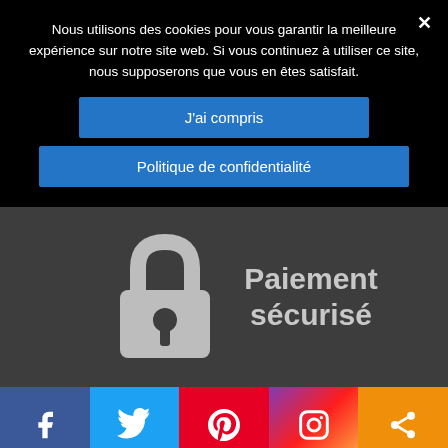Nous utilisons des cookies pour vous garantir la meilleure expérience sur notre site web. Si vous continuez à utiliser ce site, nous supposerons que vous en êtes satisfait.
J'ai compris
Politique de confidentialité
[Figure (illustration): Lock icon representing secure payment on dark grey background with text 'Paiement sécurisé']
[Figure (infographic): Social media bar with Facebook, Twitter, Pinterest, Instagram, and Share icons]